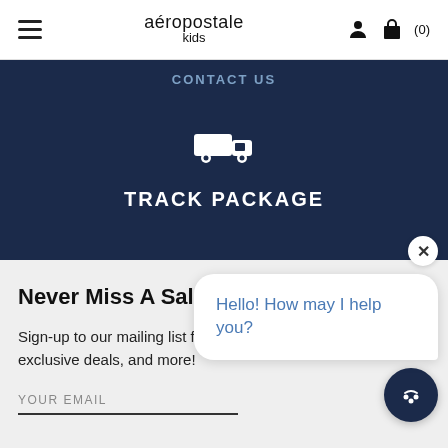aéropostale kids
CONTACT US
[Figure (illustration): White truck/delivery icon on dark navy background]
TRACK PACKAGE
Never Miss A Sale
Sign-up to our mailing list for advanced notice of sales, exclusive deals, and more!
YOUR EMAIL
Hello! How may I help you?